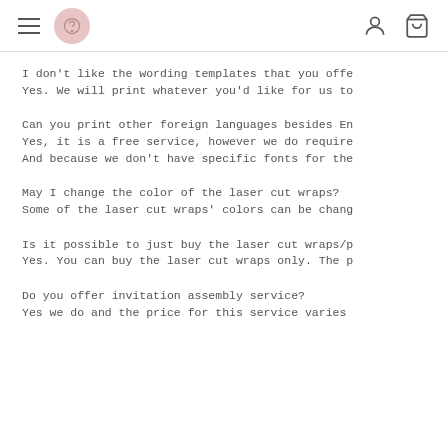Navigation header with hamburger menu, logo, user icon, and cart icon
I don't like the wording templates that you offe
Yes. We will print whatever you'd like for us to
Can you print other foreign languages besides En
Yes, it is a free service, however we do require
And because we don't have specific fonts for the
May I change the color of the laser cut wraps?
Some of the laser cut wraps' colors can be chang
Is it possible to just buy the laser cut wraps/p
Yes. You can buy the laser cut wraps only. The p
Do you offer invitation assembly service?
Yes we do and the price for this service varies